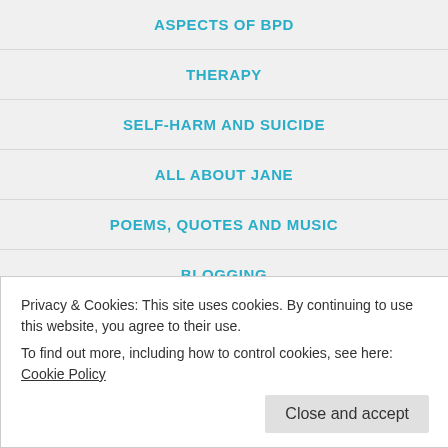ASPECTS OF BPD
THERAPY
SELF-HARM AND SUICIDE
ALL ABOUT JANE
POEMS, QUOTES AND MUSIC
BLOGGING
REBLOGS
MEMORY MONDAY
Privacy & Cookies: This site uses cookies. By continuing to use this website, you agree to their use.
To find out more, including how to control cookies, see here: Cookie Policy
August 6, 2015 by Life in a Bind - BPD and me | 38 Comments